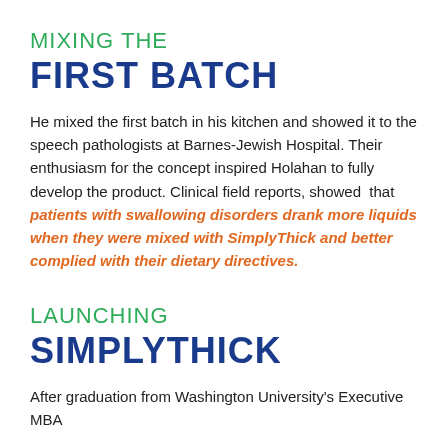MIXING THE
FIRST BATCH
He mixed the first batch in his kitchen and showed it to the speech pathologists at Barnes-Jewish Hospital. Their enthusiasm for the concept inspired Holahan to fully develop the product. Clinical field reports, showed that patients with swallowing disorders drank more liquids when they were mixed with SimplyThick and better complied with their dietary directives.
LAUNCHING
SIMPLYTHICK
After graduation from Washington University's Executive MBA